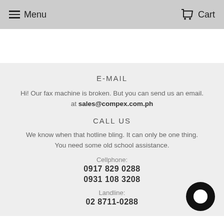Menu   Cart
E-MAIL
Hi! Our fax machine is broken. But you can send us an email. at sales@compex.com.ph
CALL US
We know when that hotline bling. It can only be one thing. You need some old school assistance.
Cellphone:
0917 829 0288
0931 108 3208
Landline:
02 8711-0288